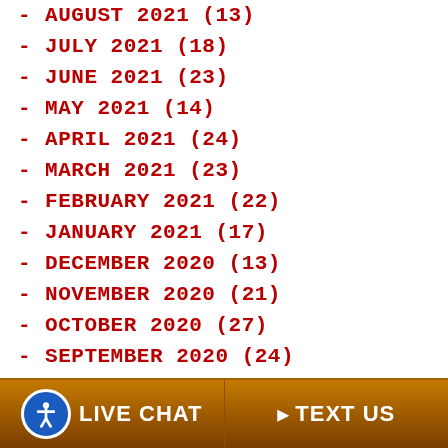- AUGUST 2021 (13)
- JULY 2021 (18)
- JUNE 2021 (23)
- MAY 2021 (14)
- APRIL 2021 (24)
- MARCH 2021 (23)
- FEBRUARY 2021 (22)
- JANUARY 2021 (17)
- DECEMBER 2020 (13)
- NOVEMBER 2020 (21)
- OCTOBER 2020 (27)
- SEPTEMBER 2020 (24)
- AUGUST 2020 (10)
- JULY 2020 (20)
- JUNE 2020 (26)
- MAY 2020 (22)
- APRIL 2020 (16)
LIVE CHAT   TEXT US